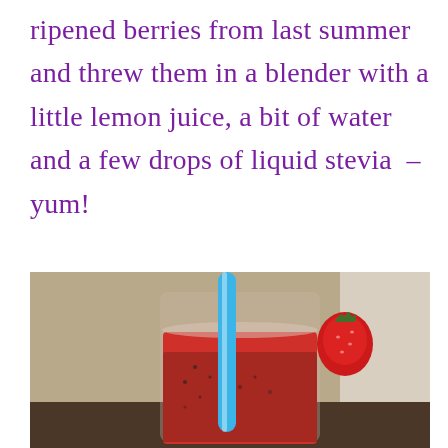ripened berries from last summer and threw them in a blender with a little lemon juice, a bit of water and a few drops of liquid stevia  –  yum!
[Figure (photo): Close-up photo of a red berry smoothie drink in a glass with a blue straw and a strawberry on the rim, on a table with a blurred background.]